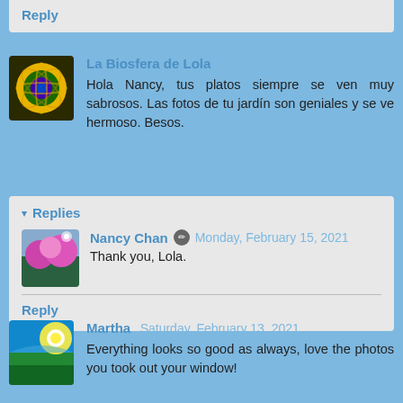Reply
La Biosfera de Lola  Saturday, February 13, 2021
Hola Nancy, tus platos siempre se ven muy sabrosos. Las fotos de tu jardín son geniales y se ve hermoso. Besos.
Reply
Replies
Nancy Chan  Monday, February 15, 2021
Thank you, Lola.
Reply
Martha  Saturday, February 13, 2021
Everything looks so good as always, love the photos you took out your window!